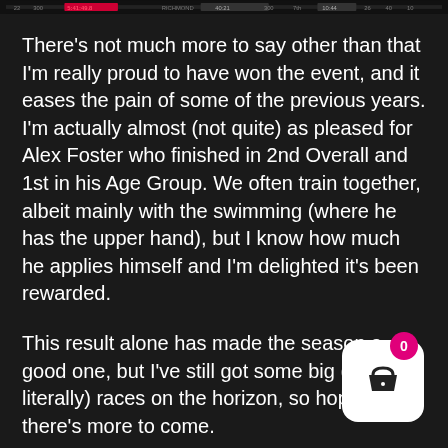[Figure (screenshot): Top navigation/header bar with race timing data, partially visible at top of page]
There's not much more to say other than that I'm really proud to have won the event, and it eases the pain of some of the previous years. I'm actually almost (not quite) as pleased for Alex Foster who finished in 2nd Overall and 1st in his Age Group. We often train together, albeit mainly with the swimming (where he has the upper hand), but I know how much he applies himself and I'm delighted it's been rewarded.
This result alone has made the season a good one, but I've still got some big (quite literally) races on the horizon, so hopefully there's more to come.
[Figure (screenshot): Shopping basket widget icon with pink badge showing '0', white rounded-square background with dark basket/shopping bag icon]